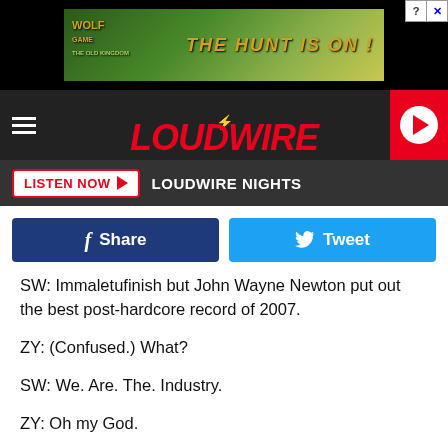[Figure (screenshot): Wolf Game advertisement banner with wolves image and text 'THE HUNT IS ON!']
[Figure (logo): Loudwire logo in red italic bold font with lightning bolt, on dark navigation bar with hamburger menu and play button]
[Figure (screenshot): Listen Now button with LOUDWIRE NIGHTS text on dark bar]
[Figure (screenshot): Facebook Share and Twitter Tweet social sharing buttons]
SW: Immaletufinish but John Wayne Newton put out the best post-hardcore record of 2007.
ZY: (Confused.) What?
SW: We. Are. The. Industry.
ZY: Oh my God.
9. Underoath, Lost In The Sound Of Separation (2008)